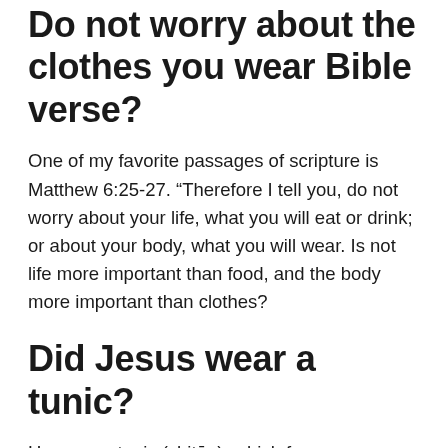Do not worry about the clothes you wear Bible verse?
One of my favorite passages of scripture is Matthew 6:25-27. “Therefore I tell you, do not worry about your life, what you will eat or drink; or about your body, what you will wear. Is not life more important than food, and the body more important than clothes?
Did Jesus wear a tunic?
He wore a tunic (chitŏn), which for men normally finished slightly below the knees, not at the ankles. Among men, only the very rich wore long tunics.